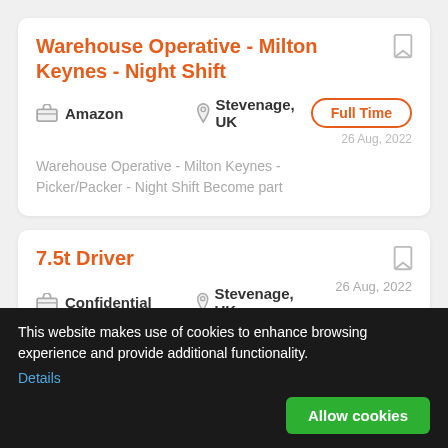Warehouse Operative - Milton Keynes - Night Shift
Amazon   Stevenage, UK   26 Aug, 2022   Full Time
Warehouse Operative - Milton Keynes - Picker/Packer - Night Shift Become part
7.5t Driver
Confidential   Stevenage, UK   26 Aug, 2022   Full Time
7.5 Tonne Delivery Driver - Stevenage Customer Service Centre OTE £35,000+
This website makes use of cookies to enhance browsing experience and provide additional functionality.  Details   Allow cookies